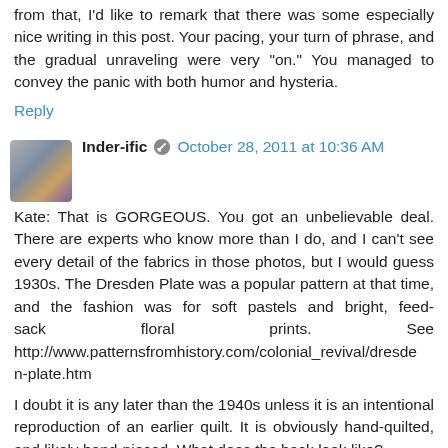from that, I'd like to remark that there was some especially nice writing in this post. Your pacing, your turn of phrase, and the gradual unraveling were very "on." You managed to convey the panic with both humor and hysteria.
Reply
Inder-ific  October 28, 2011 at 10:36 AM
Kate: That is GORGEOUS. You got an unbelievable deal. There are experts who know more than I do, and I can't see every detail of the fabrics in those photos, but I would guess 1930s. The Dresden Plate was a popular pattern at that time, and the fashion was for soft pastels and bright, feed-sack floral prints. See http://www.patternsfromhistory.com/colonial_revival/dresden-plate.htm
I doubt it is any later than the 1940s unless it is an intentional reproduction of an earlier quilt. It is obviously hand-quilted, and likely hand-pieced. What does the back look like?